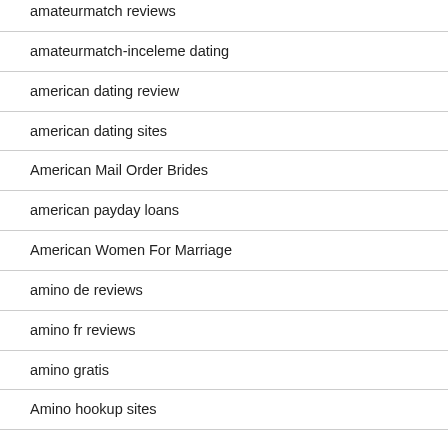amateurmatch reviews
amateurmatch-inceleme dating
american dating review
american dating sites
American Mail Order Brides
american payday loans
American Women For Marriage
amino de reviews
amino fr reviews
amino gratis
Amino hookup sites